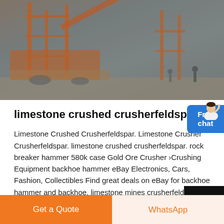[Figure (photo): Outdoor industrial mining/crushing equipment scene with large orange-metal machinery structures and two people in background on a hazy day]
limestone crushed crusherfeldspar
Limestone Crushed Crusherfeldspar. Limestone Crusher Crusherfeldspar. limestone crushed crusherfeldspar. rock breaker hammer 580k case Gold Ore Crusher ›Crushing Equipment backhoe hammer eBay Electronics, Cars, Fashion, Collectibles Find great deals on eBay for backhoe hammer and backhoe. limestone mines crusherfeldspar dietisthoofddorp
[Figure (illustration): Free chat button with avatar of customer service representative]
Get a Quote   WhatsApp